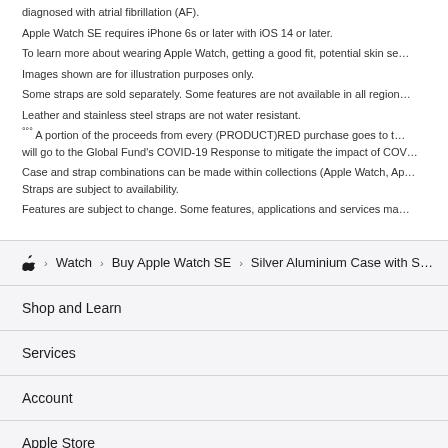diagnosed with atrial fibrillation (AF).
Apple Watch SE requires iPhone 6s or later with iOS 14 or later.
To learn more about wearing Apple Watch, getting a good fit, potential skin se…
Images shown are for illustration purposes only.
Some straps are sold separately. Some features are not available in all region…
Leather and stainless steel straps are not water resistant.
°°° A portion of the proceeds from every (PRODUCT)RED purchase goes to the Global Fund's COVID-19 Response to mitigate the impact of COV…
Case and strap combinations can be made within collections (Apple Watch, Ap… Straps are subject to availability.
Features are subject to change. Some features, applications and services ma…
Watch › Buy Apple Watch SE › Silver Aluminium Case with S…
Shop and Learn
Services
Account
Apple Store